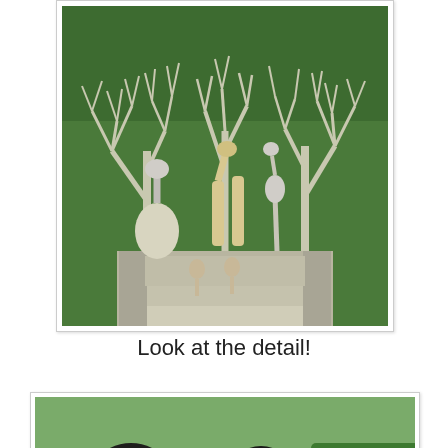[Figure (photo): Photograph of a detailed stone sculpture featuring giraffes, birds (possibly flamingos or cranes), and bare branching trees on an ornate pedestal, set against a lush green background.]
Look at the detail!
[Figure (photo): Photograph of a large dark bronze abstract sculpture in a park setting, with people visible near its base and trees and open lawn in the background.]